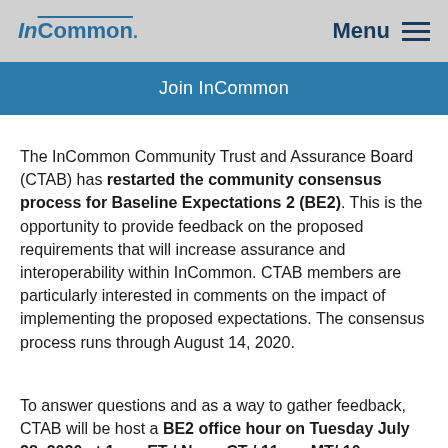InCommon  Menu
Join InCommon
The InCommon Community Trust and Assurance Board (CTAB) has restarted the community consensus process for Baseline Expectations 2 (BE2). This is the opportunity to provide feedback on the proposed requirements that will increase assurance and interoperability within InCommon. CTAB members are particularly interested in comments on the impact of implementing the proposed expectations. The consensus process runs through August 14, 2020.
To answer questions and as a way to gather feedback, CTAB will be host a BE2 office hour on Tuesday July 28, 2020 at 1 pm ET / Noon CT / 11 am MT/ 10 am